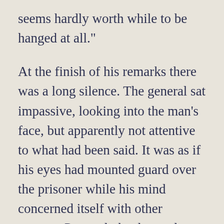seems hardly worth while to be hanged at all."
At the finish of his remarks there was a long silence. The general sat impassive, looking into the man's face, but apparently not attentive to what had been said. It was as if his eyes had mounted guard over the prisoner while his mind concerned itself with other matters. Presently he drew a long, deep breath, shuddered, as one awakened from a dreadful dream, and exclaimed almost inaudibly: "Death is horrible!"--this man